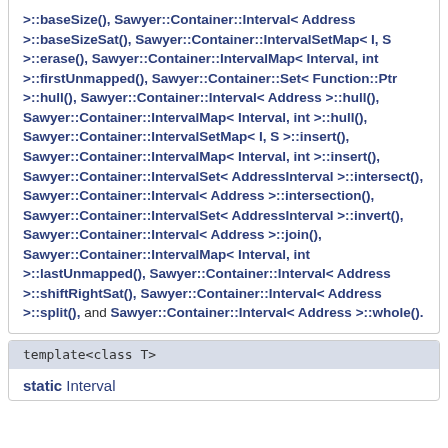>::baseSize(), Sawyer::Container::Interval< Address >::baseSizeSat(), Sawyer::Container::IntervalSetMap< I, S >::erase(), Sawyer::Container::IntervalMap< Interval, int >::firstUnmapped(), Sawyer::Container::Set< Function::Ptr >::hull(), Sawyer::Container::Interval< Address >::hull(), Sawyer::Container::IntervalMap< Interval, int >::hull(), Sawyer::Container::IntervalSetMap< I, S >::insert(), Sawyer::Container::IntervalMap< Interval, int >::insert(), Sawyer::Container::IntervalSet< AddressInterval >::intersect(), Sawyer::Container::Interval< Address >::intersection(), Sawyer::Container::IntervalSet< AddressInterval >::invert(), Sawyer::Container::Interval< Address >::join(), Sawyer::Container::IntervalMap< Interval, int >::lastUnmapped(), Sawyer::Container::Interval< Address >::shiftRightSat(), Sawyer::Container::Interval< Address >::split(), and Sawyer::Container::Interval< Address >::whole().
template<class T>
static Interval